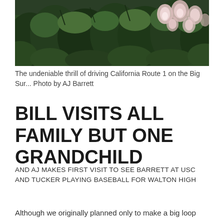[Figure (photo): Close-up photograph of green foliage and light pink/white trumpet-shaped flowers (morning glories or similar) along California Route 1, Big Sur area. Dark green shrubs fill most of the frame with soft pink flowers visible especially in the upper right.]
The undeniable thrill of driving California Route 1 on the Big Sur... Photo by AJ Barrett
BILL VISITS ALL FAMILY BUT ONE GRANDCHILD
AND AJ MAKES FIRST VISIT TO SEE BARRETT AT USC AND TUCKER PLAYING BASEBALL FOR WALTON HIGH
Although we originally planned only to make a big loop